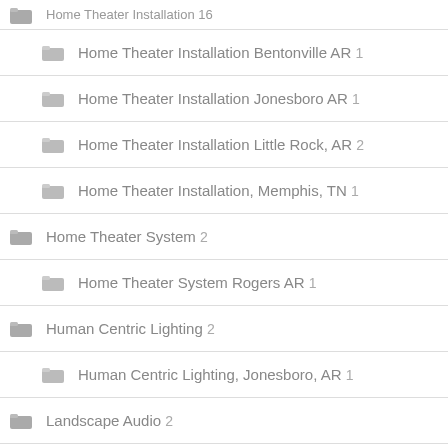Home Theater Installation Bentonville AR 1
Home Theater Installation Jonesboro AR 1
Home Theater Installation Little Rock, AR 2
Home Theater Installation, Memphis, TN 1
Home Theater System 2
Home Theater System Rogers AR 1
Human Centric Lighting 2
Human Centric Lighting, Jonesboro, AR 1
Landscape Audio 2
Landscape Audio Little Rock AR 1
Landscape Lighting
Leave a message